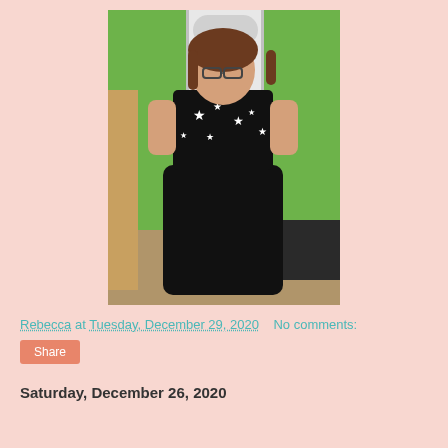[Figure (photo): A woman wearing a black star-print top and black skirt standing in a hallway with green walls and a white door]
Rebecca at Tuesday, December 29, 2020    No comments:
Share
Saturday, December 26, 2020